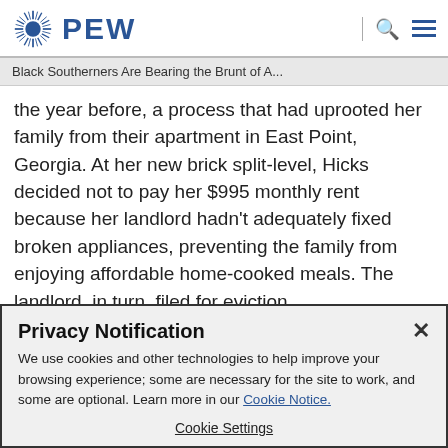PEW
Black Southerners Are Bearing the Brunt of A...
the year before, a process that had uprooted her family from their apartment in East Point, Georgia. At her new brick split-level, Hicks decided not to pay her $995 monthly rent because her landlord hadn't adequately fixed broken appliances, preventing the family from enjoying affordable home-cooked meals. The landlord, in turn, filed for eviction.
Privacy Notification
We use cookies and other technologies to help improve your browsing experience; some are necessary for the site to work, and some are optional. Learn more in our Cookie Notice.
Cookie Settings